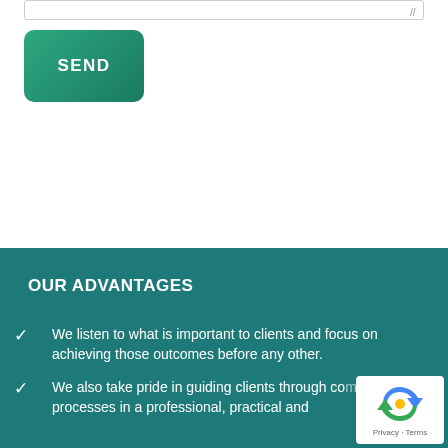[Figure (screenshot): Text input area with resize handle at top of page]
SEND
OUR ADVANTAGES
We listen to what is important to clients and focus on achieving those outcomes before any other.
We also take pride in guiding clients through complex legal processes in a professional, practical and